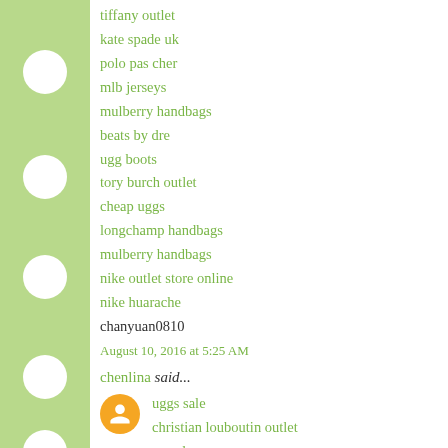tiffany outlet
kate spade uk
polo pas cher
mlb jerseys
mulberry handbags
beats by dre
ugg boots
tory burch outlet
cheap uggs
longchamp handbags
mulberry handbags
nike outlet store online
nike huarache
chanyuan0810
August 10, 2016 at 5:25 AM
chenlina said...
uggs sale
christian louboutin outlet
canada goose
louboutin shoes